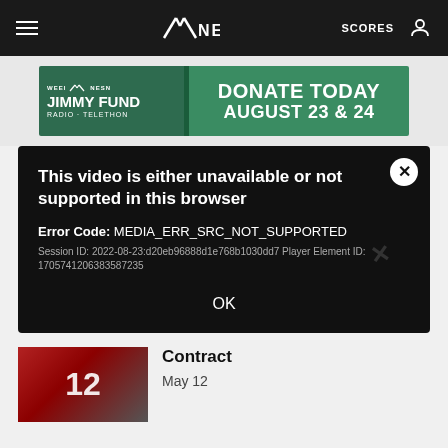[Figure (screenshot): NESN website navigation bar with hamburger menu, NESN logo, SCORES link, and user icon on dark background]
[Figure (screenshot): WEEI NESN Jimmy Fund Radio-Telethon banner ad: DONATE TODAY AUGUST 23 & 24]
This video is either unavailable or not supported in this browser
Error Code: MEDIA_ERR_SRC_NOT_SUPPORTED
Session ID: 2022-08-23:d20eb96888d1e768b1030dd7 Player Element ID: 170574120638358723​5
OK
Contract
May 12